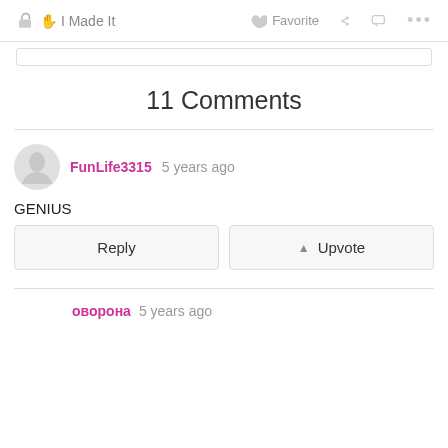I Made It  Favorite  ...
11 Comments
FunLife3315 5 years ago
GENIUS
Reply  Upvote
оворона 5 years ago